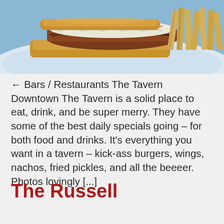[Figure (photo): Close-up photo of a pulled pork or BBQ sandwich with coleslaw on top, served alongside a pile of french fries on a blue/white plate]
← Bars / Restaurants The Tavern Downtown The Tavern is a solid place to eat, drink, and be super merry. They have some of the best daily specials going – for both food and drinks. It's everything you want in a tavern – kick-ass burgers, wings, nachos, fried pickles, and all the beeeer.  Photos lovingly [...]
The Russell